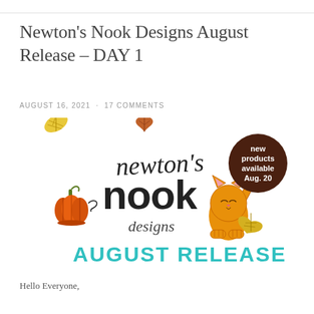Newton's Nook Designs August Release – DAY 1
AUGUST 16, 2021  ·  17 COMMENTS
[Figure (illustration): Newton's Nook Designs August Release banner with a cute orange cat, autumn leaves, pumpkin, and text reading 'newton's nook designs AUGUST RELEASE' with a brown circle badge saying 'new products available Aug. 20']
Hello Everyone,